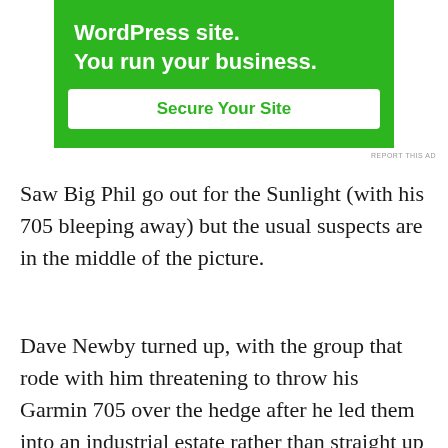[Figure (other): Green advertisement banner with white bold text reading 'WordPress site. You run your business.' and a white button with green text 'Secure Your Site']
REPORT THIS AD
Saw Big Phil go out for the Sunlight (with his 705 bleeping away) but the usual suspects are in the middle of the picture.
Dave Newby turned up, with the group that rode with him threatening to throw his Garmin 705 over the hedge after he led them into an industrial estate rather than straight up a hill. Ended up with Clives group thinking it was going to be a big club ride going  down